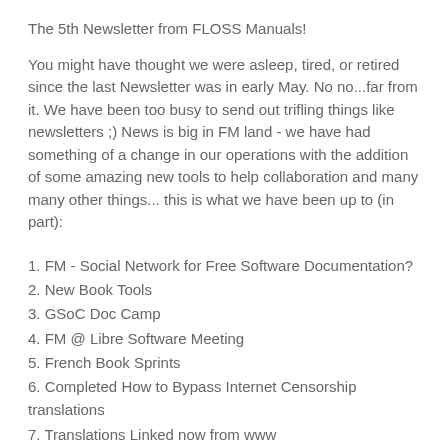The 5th Newsletter from FLOSS Manuals!
You might have thought we were asleep, tired, or retired since the last Newsletter was in early May. No no...far from it. We have been too busy to send out trifling things like newsletters ;) News is big in FM land - we have had something of a change in our operations with the addition of some amazing new tools to help collaboration and many many other things... this is what we have been up to (in part):
1. FM - Social Network for Free Software Documentation?
2. New Book Tools
3. GSoC Doc Camp
4. FM @ Libre Software Meeting
5. French Book Sprints
6. Completed How to Bypass Internet Censorship translations
7. Translations Linked now from www
8. First Book in Kindle Store
9. Community Translation - Cómo Hacer Una Actividad Sugar